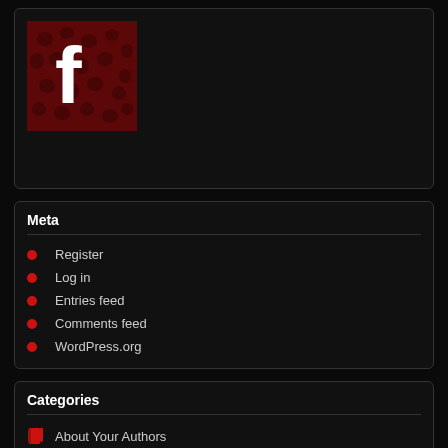[Figure (logo): Facebook logo with dark red skull-pattern background and white 'f' letter]
Meta
Register
Log in
Entries feed
Comments feed
WordPress.org
Categories
About Your Authors
Album Reviews
Band Name Fodder
Calendar
Concert Reviews
Exceptions to the Rule